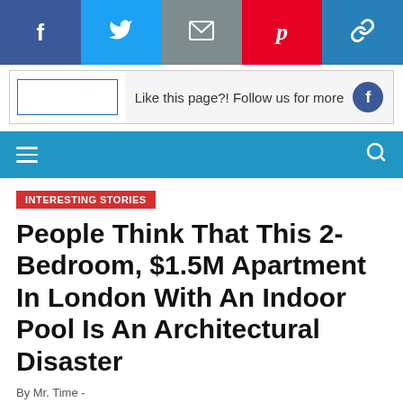[Figure (screenshot): Social media share buttons bar: Facebook (dark blue), Twitter (light blue), Email (grey), Pinterest (red), Link (blue)]
Like this page?! Follow us for more
[Figure (screenshot): Navigation bar with hamburger menu icon on left and search icon on right, blue background]
INTERESTING STORIES
People Think That This 2-Bedroom, $1.5M Apartment In London With An Indoor Pool Is An Architectural Disaster
By Mr. Time  -
Time to Read: 3 min    544 words